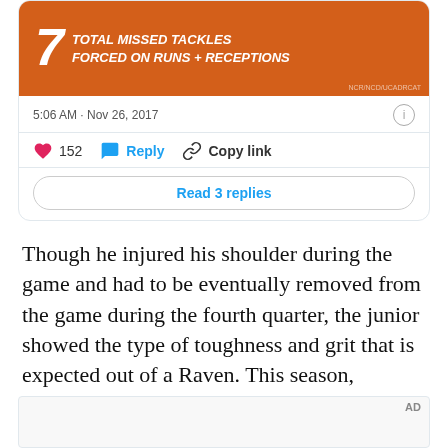[Figure (screenshot): Tweet card showing an orange sports graphic with '7 TOTAL MISSED TACKLES FORCED ON RUNS + RECEPTIONS', timestamp '5:06 AM · Nov 26, 2017', 152 likes, Reply, Copy link buttons, and Read 3 replies button]
Though he injured his shoulder during the game and had to be eventually removed from the game during the fourth quarter, the junior showed the type of toughness and grit that is expected out of a Raven. This season, Johnson has tallied 250 carries for 1,276 yards and 17 touchdowns in the SEC of all places.
[Figure (other): AD placeholder box]